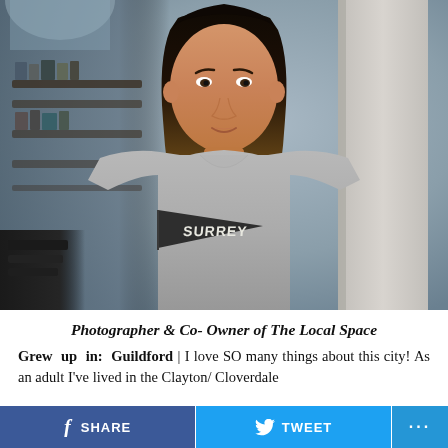[Figure (photo): Portrait photo of a young woman with long dark-to-ombre brown hair, wearing a grey t-shirt with a Surrey pennant graphic, leaning against a concrete pillar in what appears to be a library or modern building interior.]
Photographer & Co- Owner of The Local Space
Grew up in: Guildford | I love SO many things about this city! As an adult I've lived in the Clayton/ Cloverdale
f SHARE  🐦 TWEET  ...